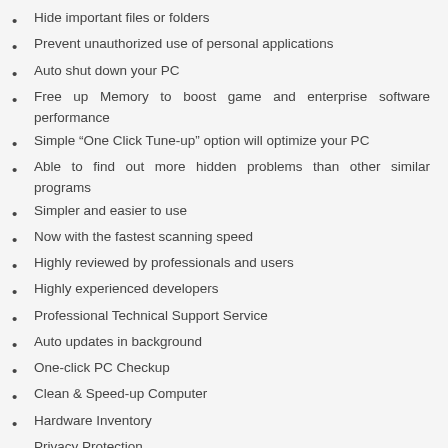Hide important files or folders
Prevent unauthorized use of personal applications
Auto shut down your PC
Free up Memory to boost game and enterprise software performance
Simple “One Click Tune-up” option will optimize your PC
Able to find out more hidden problems than other similar programs
Simpler and easier to use
Now with the fastest scanning speed
Highly reviewed by professionals and users
Highly experienced developers
Professional Technical Support Service
Auto updates in background
One-click PC Checkup
Clean & Speed-up Computer
Hardware Inventory
Privacy Protection